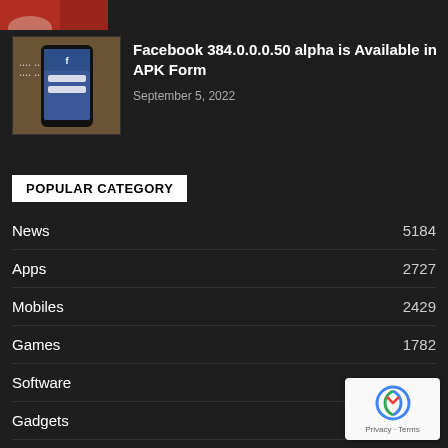[Figure (photo): Partial top image strip showing hands/red background, cropped at page top]
[Figure (photo): Thumbnail image of a smartphone showing Facebook login screen on a wooden table]
Facebook 384.0.0.0.50 alpha is Available in APK Form
September 5, 2022
POPULAR CATEGORY
News  5184
Apps  2727
Mobiles  2429
Games  1782
Software  1669
Gadgets  1064
Finance